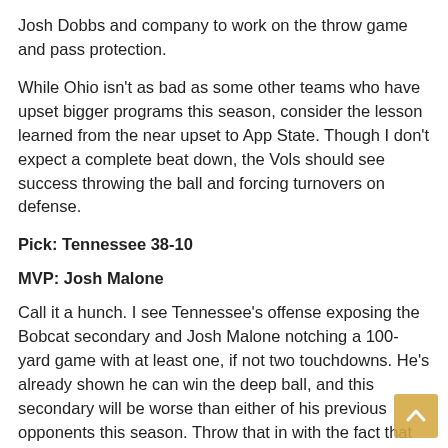Josh Dobbs and company to work on the throw game and pass protection.
While Ohio isn't as bad as some other teams who have upset bigger programs this season, consider the lesson learned from the near upset to App State. Though I don't expect a complete beat down, the Vols should see success throwing the ball and forcing turnovers on defense.
Pick: Tennessee 38-10
MVP: Josh Malone
Call it a hunch. I see Tennessee's offense exposing the Bobcat secondary and Josh Malone notching a 100-yard game with at least one, if not two touchdowns. He's already shown he can win the deep ball, and this secondary will be worse than either of his previous opponents this season. Throw that in with the fact that they will likely rotate Jalen Hurd a little more and won't run Dobbs as much to keep them healthy for the Florida game, and this could be Josh Malone's shiny moment.